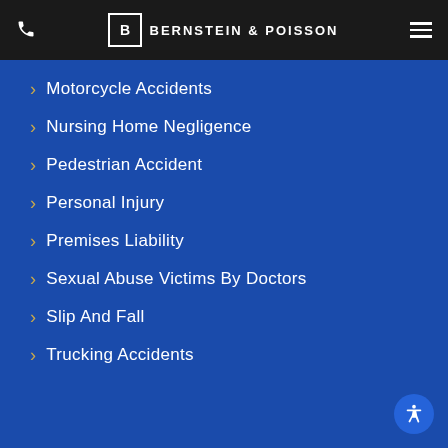Bernstein & Poisson
Motorcycle Accidents
Nursing Home Negligence
Pedestrian Accident
Personal Injury
Premises Liability
Sexual Abuse Victims By Doctors
Slip And Fall
Trucking Accidents